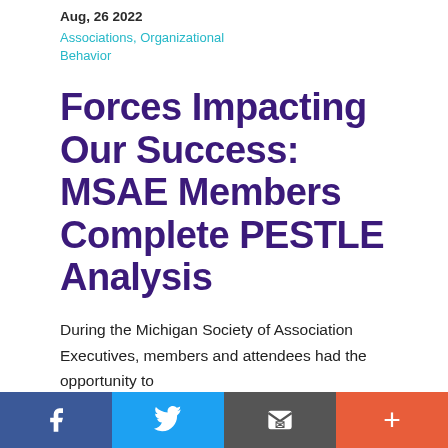Aug, 26 2022
Associations, Organizational Behavior
Forces Impacting Our Success: MSAE Members Complete PESTLE Analysis
During the Michigan Society of Association Executives, members and attendees had the opportunity to
Social share bar: Facebook, Twitter, Email, Plus